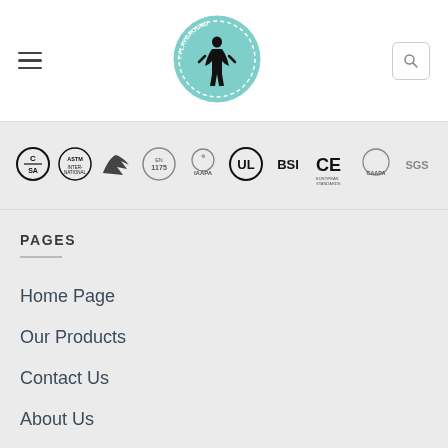[Figure (logo): Wonka Forest Playground circular logo in teal/mint color with silhouette figure]
[Figure (infographic): Row of certification logos: CSA, ASTM, arrow logo, EN 1175, IAAPA, UL, BSI, CE European Standards, CAAPA, SGS]
PAGES
Home Page
Our Products
Contact Us
About Us
FAQ